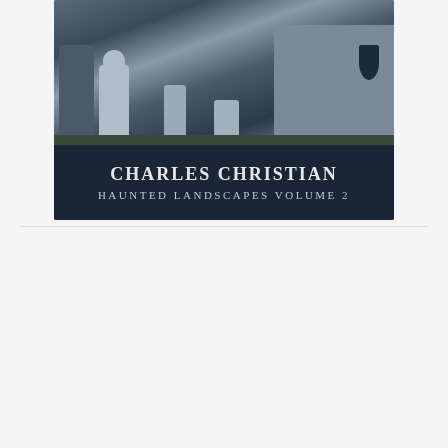[Figure (photo): Book cover for 'Haunted Landscapes Volume 2' by Charles Christian. Dark blue image with graveyard, church, and gravestones at top. Dark navy bottom panel with author name and title in serif font.]
Tweets from @urbanfantasist
[Figure (screenshot): Tweet from Charles Christ... @urbanfantasist · 2h reading: Bliss it was in that dawn to be alive #LizTruss, with a partially visible image below.]